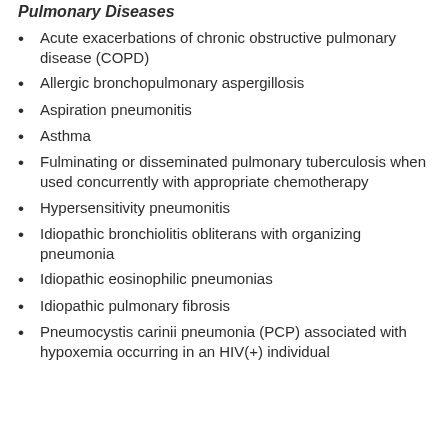Pulmonary Diseases
Acute exacerbations of chronic obstructive pulmonary disease (COPD)
Allergic bronchopulmonary aspergillosis
Aspiration pneumonitis
Asthma
Fulminating or disseminated pulmonary tuberculosis when used concurrently with appropriate chemotherapy
Hypersensitivity pneumonitis
Idiopathic bronchiolitis obliterans with organizing pneumonia
Idiopathic eosinophilic pneumonias
Idiopathic pulmonary fibrosis
Pneumocystis carinii pneumonia (PCP) associated with hypoxemia occurring in an HIV(+) individual